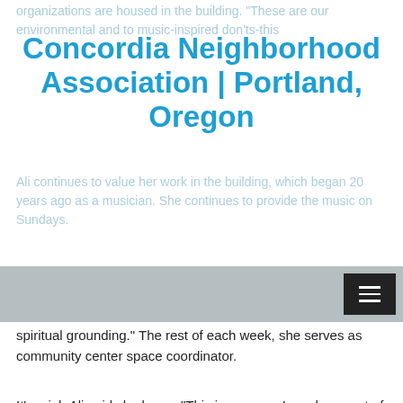Concordia Neighborhood Association | Portland, Oregon
organizations are housed in the building. "These are our environmental and to music-inspired don'ts-this...
Ali continues to value her work in the building, which began 20 years ago as a musician. She continues to provide the music on Sundays.
"It's spiritually fulfilling to me to provide music for ou... spiritual grounding." The rest of each week, she serves as community center space coordinator.
It’s a job Ali said she loves. “This is one way I can be a part of social movements that are happening. My entire adult life, this place has sustained me.”
Leaven tenants/partners
Cascadia Wild
Center for Diversity & the Environment
Freedom to Thrive
Interfaith Spiritual Center